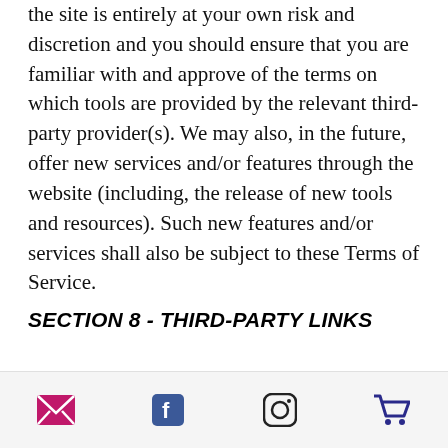the site is entirely at your own risk and discretion and you should ensure that you are familiar with and approve of the terms on which tools are provided by the relevant third-party provider(s). We may also, in the future, offer new services and/or features through the website (including, the release of new tools and resources). Such new features and/or services shall also be subject to these Terms of Service.
SECTION 8 - THIRD-PARTY LINKS
Certain content, products and services available via our Service may include materials from third-parties. Third-party links on this site may direct you to third-party websites that are not affiliated with us. We are not responsible for...